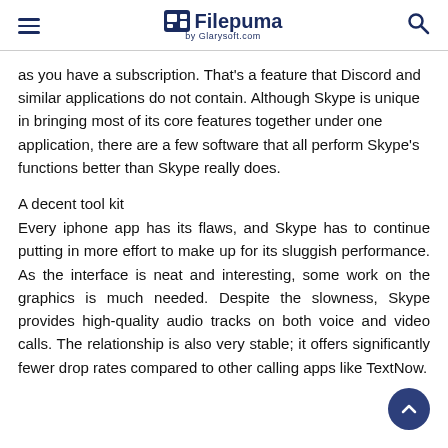Filepuma by Glarysoft.com
as you have a subscription. That's a feature that Discord and similar applications do not contain. Although Skype is unique in bringing most of its core features together under one application, there are a few software that all perform Skype's functions better than Skype really does.
A decent tool kit
Every iphone app has its flaws, and Skype has to continue putting in more effort to make up for its sluggish performance. As the interface is neat and interesting, some work on the graphics is much needed. Despite the slowness, Skype provides high-quality audio tracks on both voice and video calls. The relationship is also very stable; it offers significantly fewer drop rates compared to other calling apps like TextNow.